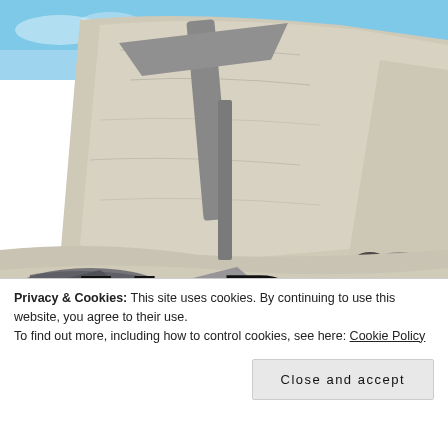[Figure (photo): Photograph of a crashed military aircraft wreckage lying in sandy/rocky desert terrain. The tail section with vertical stabilizer is visible pointing upward, and the fuselage is broken and scattered across the sandy ground. Large rocky cliff face in the background under a blue sky. Large bold letters 'V B' visible overlaid at the bottom of the photo.]
Privacy & Cookies: This site uses cookies. By continuing to use this website, you agree to their use.
To find out more, including how to control cookies, see here: Cookie Policy
Close and accept